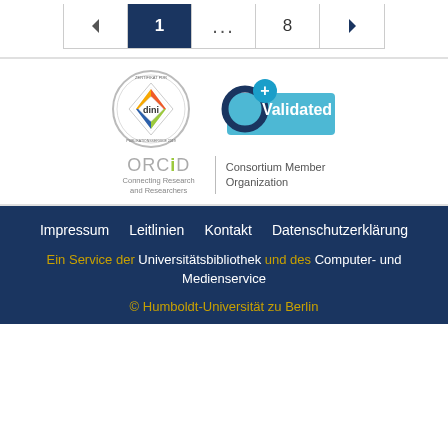[Figure (other): Pagination bar with left arrow, page 1 (active/highlighted), ellipsis, page 8, right arrow]
[Figure (logo): DINI Zertifikat Open-Access Publikationsservice 2019 circular seal logo on left; ORCID+ Validated badge on right; ORCID Connecting Research and Researchers | Consortium Member Organization logo below]
Impressum   Leitlinien   Kontakt   Datenschutzerklärung
Ein Service der Universitätsbibliothek und des Computer- und Medienservice
© Humboldt-Universität zu Berlin